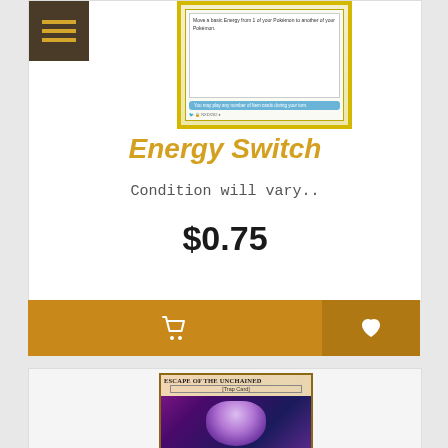[Figure (photo): Pokemon Energy Switch trading card image with yellow border and blue item text box]
Energy Switch
Condition will vary..
$0.75
[Figure (other): Shopping cart button and heart/wishlist button on orange/amber action bar]
[Figure (photo): Yu-Gi-Oh Escape of the Unchained Trap Card image with purple and gold artwork]